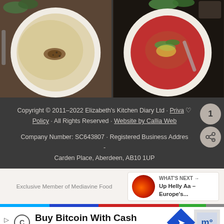[Figure (photo): Two food photos side by side: left shows a cream/white soup in a white bowl on dark wooden background, right shows a pasta or vegetable dish on a white plate on dark background]
Copyright © 2011–2022 Elizabeth's Kitchen Diary Ltd · Privacy Policy · All Rights Reserved · Website by Callia Web
Company Number: SC643807 · Registered Business Address - Carden Place, Aberdeen, AB10 1UP
Exclusive Member of Mediavine Food
WHAT'S NEXT → Up Helly Aa – Europe's...
Buy Bitcoin With Cash CoinFlip Bitcoin ATM